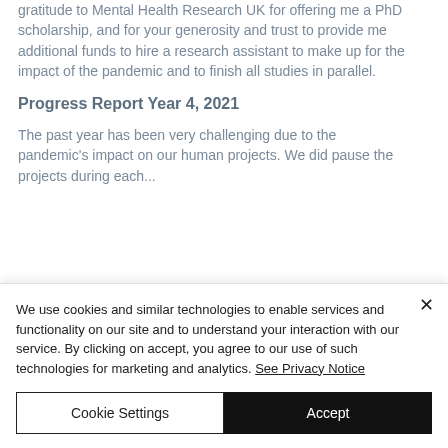gratitude to Mental Health Research UK for offering me a PhD scholarship, and for your generosity and trust to provide me additional funds to hire a research assistant to make up for the impact of the pandemic and to finish all studies in parallel.
Progress Report Year 4, 2021
The past year has been very challenging due to the pandemic's impact on our human projects. We did pause the projects during each...
We use cookies and similar technologies to enable services and functionality on our site and to understand your interaction with our service. By clicking on accept, you agree to our use of such technologies for marketing and analytics. See Privacy Notice